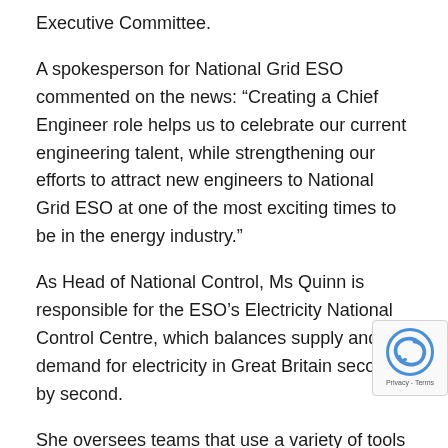Executive Committee.
A spokesperson for National Grid ESO commented on the news: “Creating a Chief Engineer role helps us to celebrate our current engineering talent, while strengthening our efforts to attract new engineers to National Grid ESO at one of the most exciting times to be in the energy industry.”
As Head of National Control, Ms Quinn is responsible for the ESO’s Electricity National Control Centre, which balances supply and demand for electricity in Great Britain second by second.
She oversees teams that use a variety of tools to forecast demand for electricity and ensure a safe and secure system delivering one of the most reliable networks in the world.